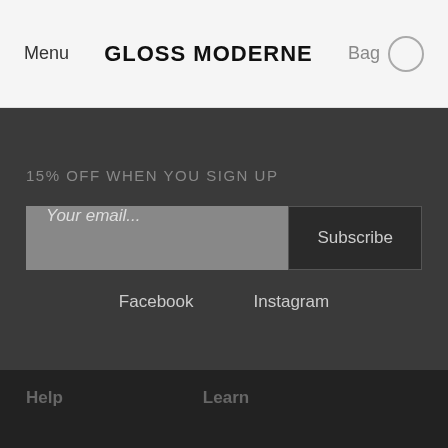Menu  GLOSS MODERNE  Bag
15% OFF WHEN YOU SIGN UP
Your email...  Subscribe
Facebook  Instagram
Help  Learn